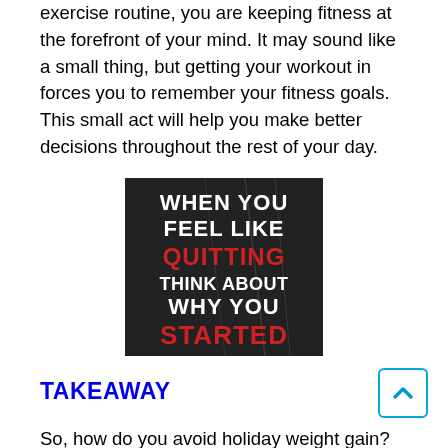exercise routine, you are keeping fitness at the forefront of your mind. It may sound like a small thing, but getting your workout in forces you to remember your fitness goals. This small act will help you make better decisions throughout the rest of your day.
[Figure (illustration): Motivational quote image on dark background: 'WHEN YOU FEEL LIKE QUITTING THINK ABOUT WHY YOU STARTED' with 'QUITTING' and 'STARTED' in red, rest in white, bold condensed font.]
TAKEAWAY
So, how do you avoid holiday weight gain?